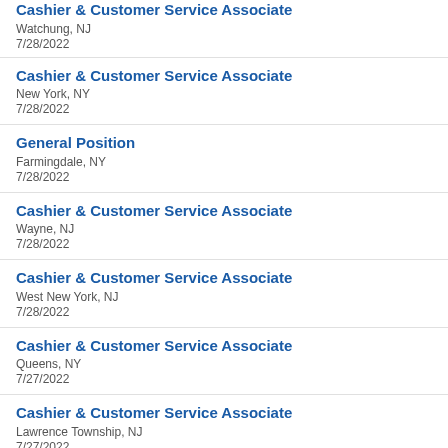Cashier & Customer Service Associate
Watchung, NJ
7/28/2022
Cashier & Customer Service Associate
New York, NY
7/28/2022
General Position
Farmingdale, NY
7/28/2022
Cashier & Customer Service Associate
Wayne, NJ
7/28/2022
Cashier & Customer Service Associate
West New York, NJ
7/28/2022
Cashier & Customer Service Associate
Queens, NY
7/27/2022
Cashier & Customer Service Associate
Lawrence Township, NJ
7/27/2022